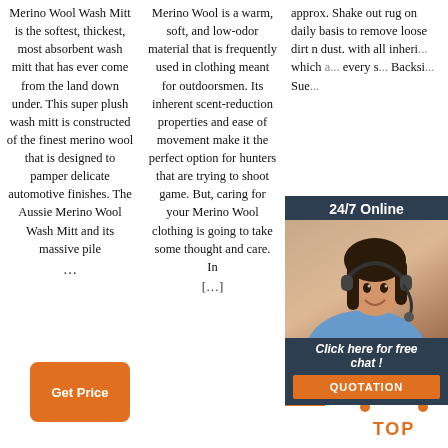Merino Wool Wash Mitt is the softest, thickest, most absorbent wash mitt that has ever come from the land down under. This super plush wash mitt is constructed of the finest merino wool that is designed to pamper delicate automotive finishes. The Aussie Merino Wool Wash Mitt and its massive pile …
Merino Wool is a warm, soft, and low-odor material that is frequently used in clothing meant for outdoorsmen. Its inherent scent-reduction properties and ease of movement make it the perfect option for hunters that are trying to shoot game. But, caring for your Merino Wool clothing is going to take some thought and care. In [...]
approx. Shake out rug on daily basis to remove loose dirt n dust. with all inheri... which a... every s... Backsi... Suec...
[Figure (illustration): 24/7 Online chat box banner with dark navy background, woman with headset photo, 'Click here for free chat!' italic text, and orange QUOTATION button]
[Figure (illustration): Orange 'G' button]
[Figure (logo): TOP icon with orange dots and orange TOP text]
Get Price